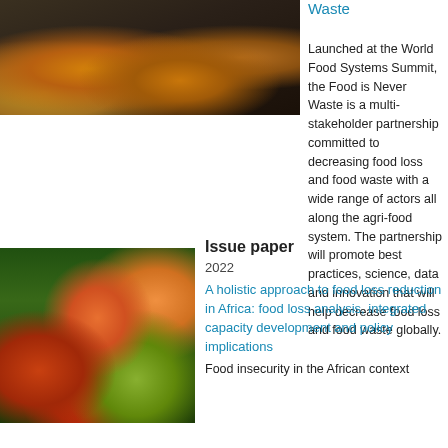[Figure (photo): Top image of food items scattered on dark ground, oranges and leaves visible]
Waste
Launched at the World Food Systems Summit, the Food is Never Waste is a multi-stakeholder partnership committed to decreasing food loss and food waste with a wide range of actors all along the agri-food system. The partnership will promote best practices, science, data and innovation that will help decrease food loss and food waste globally.
[Figure (photo): Market stalls with colorful fruit and vegetables in containers — tomatoes, peppers, green produce arranged in baskets]
Issue paper
2022
A holistic approach to food loss reduction in Africa: food loss analysis, integrated capacity development and policy implications
Food insecurity in the African context